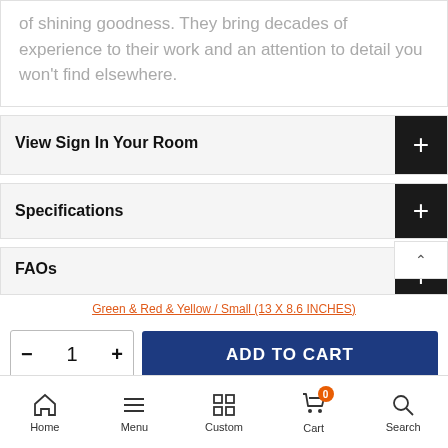of shining goodness. They bring decades of experience to their work and an attention to detail you won't find elsewhere.
View Sign In Your Room
Specifications
FAOs
Green & Red & Yellow / Small (13 X 8.6 INCHES)
1
ADD TO CART
Home  Menu  Custom  Cart  Search